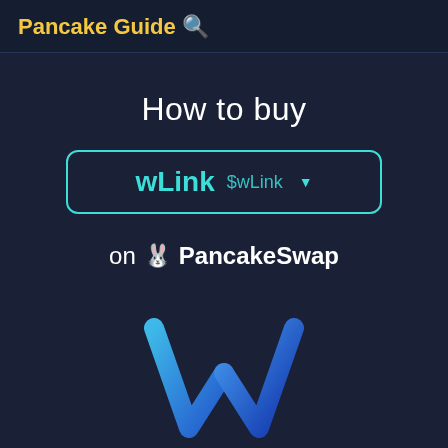Pancake Guide 🔍
How to buy
wLink $wLink ▼
on 🐰 PancakeSwap
[Figure (logo): wLink logo — a stylized W shape in gradient blue/cyan colors]